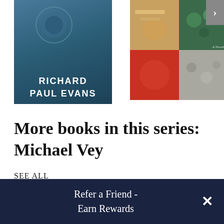[Figure (illustration): Two book covers side by side. Left cover: dark blue/teal with 'RICHARD PAUL EVANS' text in white. Right cover: red background with a collage of holiday floral/wreath photographs arranged in quadrants.]
More books in this series: Michael Vey
SEE ALL
Refer a Friend - Earn Rewards